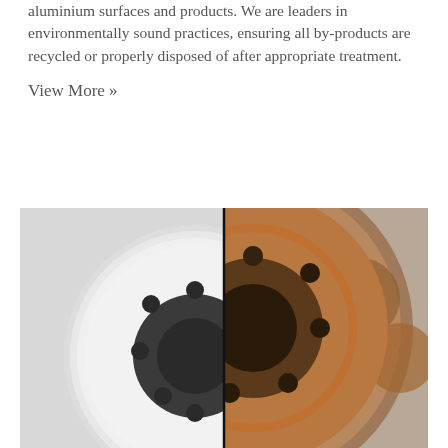aluminium surfaces and products. We are leaders in environmentally sound practices, ensuring all by-products are recycled or properly disposed of after appropriate treatment.
View More »
[Figure (photo): Split comparison photo of a wheel/rim: left half shows a clean white-painted steel wheel with bolt holes, right half shows the same type of wheel heavily rusted and corroded with rust-brown surface.]